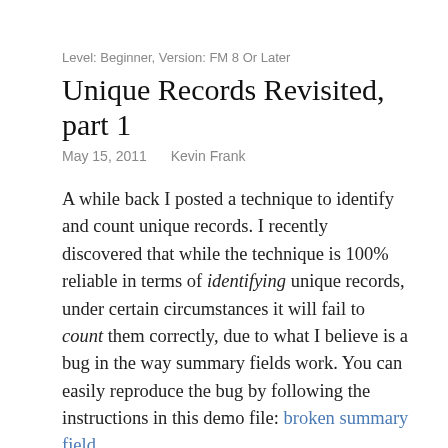Level: Beginner, Version: FM 8 Or Later
Unique Records Revisited, part 1
May 15, 2011    Kevin Frank
A while back I posted a technique to identify and count unique records. I recently discovered that while the technique is 100% reliable in terms of identifying unique records, under certain circumstances it will fail to count them correctly, due to what I believe is a bug in the way summary fields work. You can easily reproduce the bug by following the instructions in this demo file: broken summary field
Fortunately there are various ways to skin this particular cat, and today we’re going to look at one of them (demo file: broken summary field workaround).